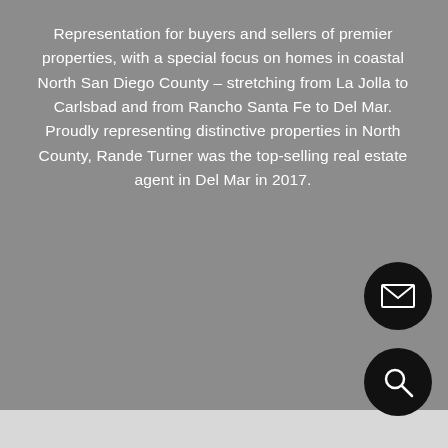Representation for buyers and sellers of premier properties, with a special focus on homes in coastal North San Diego County – stretching from La Jolla to Carlsbad and from Rancho Santa Fe to Del Mar. Proudly representing distinctive properties in North County, Rande Turner was the top-selling real estate agent in Del Mar in 2017.
CONTACT US